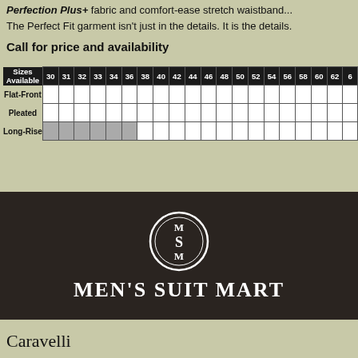Step into the trouser and experience the pleasure of our Perfection Plus+ fabric and comfort-ease stretch waistband... The Perfect Fit garment isn't just in the details. It is the details.
Call for price and availability
| Sizes Available | 30 | 31 | 32 | 33 | 34 | 36 | 38 | 40 | 42 | 44 | 46 | 48 | 50 | 52 | 54 | 56 | 58 | 60 | 62 | 6 |
| --- | --- | --- | --- | --- | --- | --- | --- | --- | --- | --- | --- | --- | --- | --- | --- | --- | --- | --- | --- | --- |
| Flat-Front |  |  |  |  |  |  |  |  |  |  |  |  |  |  |  |  |  |  |  |  |
| Pleated |  |  |  |  |  |  |  |  |  |  |  |  |  |  |  |  |  |  |  |  |
| Long-Rise | N/A | N/A | N/A | N/A | N/A |  |  |  |  |  |  |  |  |  |  |  |  |  |  |  |
[Figure (logo): Men's Suit Mart logo with MSM monogram in oval on dark denim-textured banner]
Caravelli